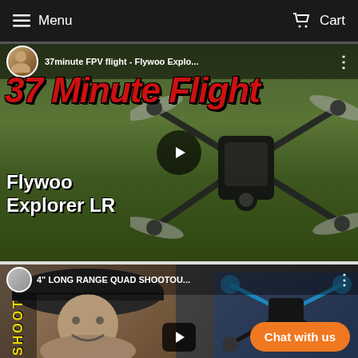Menu | Cart
[Figure (screenshot): YouTube video thumbnail: '37minute FPV flight - Flywoo Explo...' showing a drone (Flywoo Explorer LR) with large red text '37 Minute Flight' and white text 'Flywoo Explorer LR' overlaid on a green field background, with a play button in the center.]
[Figure (screenshot): YouTube video thumbnail: '4 INCH LONG RANGE QUAD SHOOTOU...' showing a man wearing a black cap and yellow jacket smiling, with FPV drones on the right side. Yellow 'SHOOT' text on left strip. Play button visible. 'Chat with us' orange button overlay.]